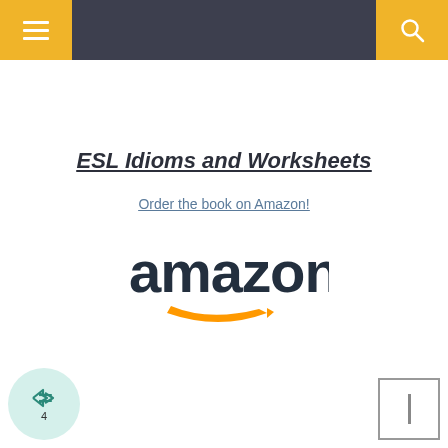Navigation bar with menu and search icons
ESL Idioms and Worksheets
Order the book on Amazon!
[Figure (logo): Amazon logo with orange smile/arrow]
[Figure (other): Share button with forward arrow icon and count 4]
[Figure (other): Small square UI element in bottom right corner]